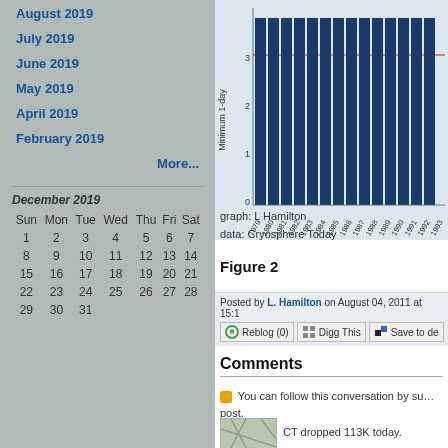August 2019
July 2019
June 2019
May 2019
April 2019
February 2019
More...
| Sun | Mon | Tue | Wed | Thu | Fri | Sat |
| --- | --- | --- | --- | --- | --- | --- |
| 1 | 2 | 3 | 4 | 5 | 6 | 7 |
| 8 | 9 | 10 | 11 | 12 | 13 | 14 |
| 15 | 16 | 17 | 18 | 19 | 20 | 21 |
| 22 | 23 | 24 | 25 | 26 | 27 | 28 |
| 29 | 30 | 31 |  |  |  |  |
[Figure (bar-chart): Bar chart of minimum 1-day sea ice values from 1979 to 1993+, with a red horizontal reference line near y=3]
graph: L Hamilton
data: Cryosphere Today
Figure 2
Posted by L. Hamilton on August 04, 2011 at 15:1...
Reblog (0)   Digg This   Save to de...
Comments
You can follow this conversation by su... post.
CT dropped 113K today.